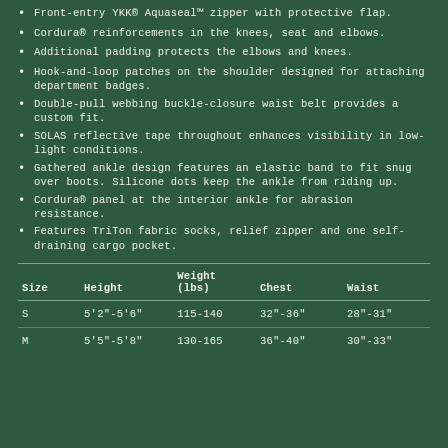Front-entry YKK® Aquaseal™ zipper with protective flap.
Cordura® reinforcements in the knees, seat and elbows.
Additional padding protects the elbows and knees.
Hook-and-loop patches on the shoulder designed for attaching department badges.
Double-pull webbing buckle-closure waist belt provides a custom fit.
SOLAS reflective tape throughout enhances visibility in low-light conditions.
Gathered ankle design features an elastic band to fit snug over boots. Silicone dots keep the ankle from riding up.
Cordura® panel at the interior ankle for abrasion resistance.
Features TriTon fabric socks, relief zipper and one self-draining cargo pocket.
| Size | Height | Weight (lbs) | Chest | Waist |
| --- | --- | --- | --- | --- |
| S | 5'2"-5'6" | 115-140 | 32"-36" | 28"-31" |
| M | 5'5"-5'8" | 130-165 | 36"-40" | 30"-33" |